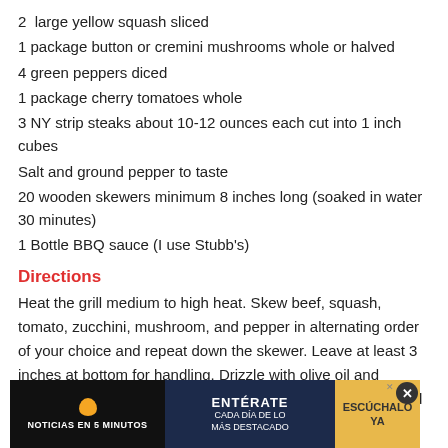2  large yellow squash sliced
1 package button or cremini mushrooms whole or halved
4 green peppers diced
1 package cherry tomatoes whole
3 NY strip steaks about 10-12 ounces each cut into 1 inch cubes
Salt and ground pepper to taste
20 wooden skewers minimum 8 inches long (soaked in water 30 minutes)
1 Bottle BBQ sauce (I use Stubb's)
Directions
Heat the grill medium to high heat. Skew beef, squash, tomato, zucchini, mushroom, and pepper in alternating order of your choice and repeat down the skewer. Leave at least 3 inches at bottom for handling. Drizzle with olive oil and season with salt and pepper. Line skewers on grill, cover and let cook for 4-5 minutes. Check skewers and turn them over Brus...sure
[Figure (other): Advertisement banner: NOTICIAS EN 5 MINUTOS / ENTÉRATE CADA DÍA DE LO MÁS DESTACADO / ESCÚCHALO YA, with close button]